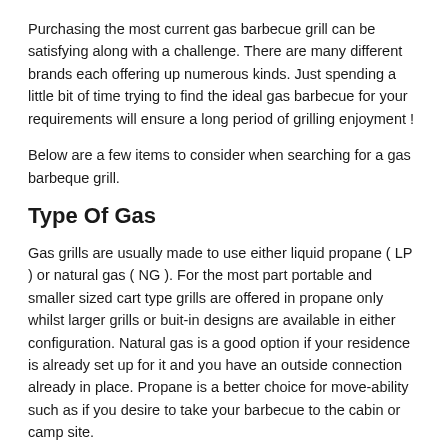Purchasing the most current gas barbecue grill can be satisfying along with a challenge. There are many different brands each offering up numerous kinds. Just spending a little bit of time trying to find the ideal gas barbecue for your requirements will ensure a long period of grilling enjoyment !
Below are a few items to consider when searching for a gas barbeque grill.
Type Of Gas
Gas grills are usually made to use either liquid propane ( LP ) or natural gas ( NG ). For the most part portable and smaller sized cart type grills are offered in propane only whilst larger grills or buit-in designs are available in either configuration. Natural gas is a good option if your residence is already set up for it and you have an outside connection already in place. Propane is a better choice for move-ability such as if you desire to take your barbecue to the cabin or camp site.